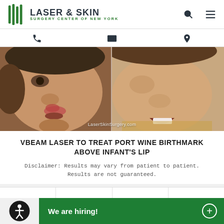LASER & SKIN SURGERY CENTER OF NEW YORK
[Figure (photo): Before and after side-by-side close-up photos of an infant's face showing a port wine birthmark above the lip. Left image shows birthmark, right image shows cleared skin after VBeam laser treatment. Watermark reads LaserSkinSurgery.com]
VBEAM LASER TO TREAT PORT WINE BIRTHMARK ABOVE INFANT'S LIP
Disclaimer: Results may vary from patient to patient. Results are not guaranteed.
We are hiring!